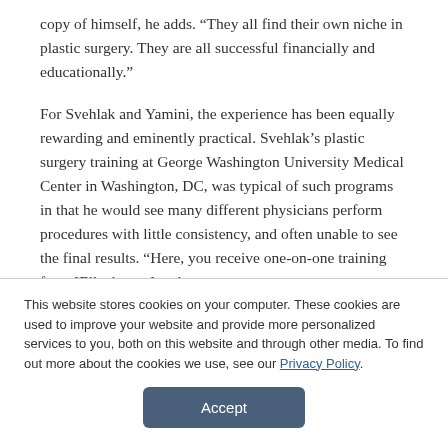copy of himself, he adds. “They all find their own niche in plastic surgery. They are all successful financially and educationally.”
For Svehlak and Yamini, the experience has been equally rewarding and eminently practical. Svehlak’s plastic surgery training at George Washington University Medical Center in Washington, DC, was typical of such programs in that he would see many different physicians perform procedures with little consistency, and often unable to see the final results. “Here, you receive one-on-one training from [Ellenbogen] and one-
This website stores cookies on your computer. These cookies are used to improve your website and provide more personalized services to you, both on this website and through other media. To find out more about the cookies we use, see our Privacy Policy.